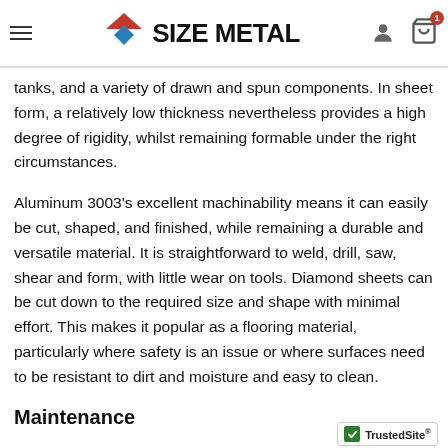SIZE METAL — navigation bar with logo, hamburger menu, user icon, cart icon (badge: 1)
Aluminum 3003 has a wide range of applications in chemical equipment, sheet metal work, fuel tanks, pressure vessels, garage doors, awning slats, storage and gasoline tanks, and a variety of drawn and spun components. In sheet form, a relatively low thickness nevertheless provides a high degree of rigidity, whilst remaining formable under the right circumstances.
Aluminum 3003’s excellent machinability means it can easily be cut, shaped, and finished, while remaining a durable and versatile material. It is straightforward to weld, drill, saw, shear and form, with little wear on tools. Diamond sheets can be cut down to the required size and shape with minimal effort. This makes it popular as a flooring material, particularly where safety is an issue or where surfaces need to be resistant to dirt and moisture and easy to clean.
Maintenance
[Figure (logo): TrustedSite badge with green checkmark]